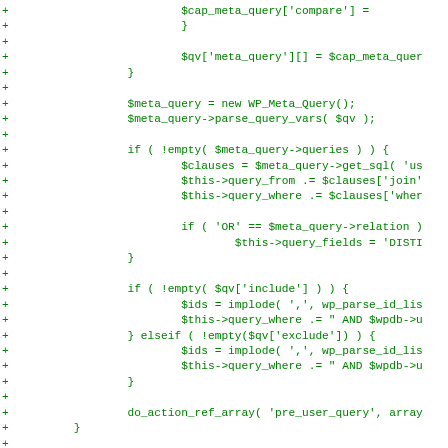[Figure (screenshot): A code diff view showing PHP code additions (marked with '+' in green) from a WordPress user query file. The code includes meta query handling, SQL clause construction, include/exclude user ID filtering, and a do_action_ref_array call.]